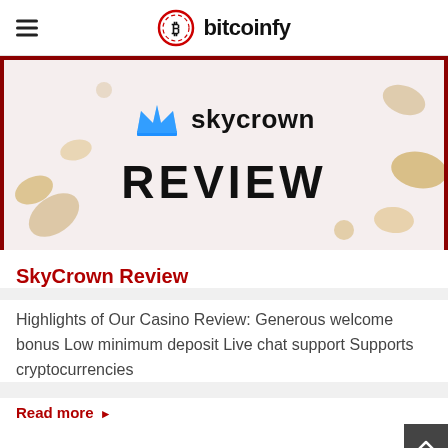bitcoinfy
[Figure (screenshot): SkyCrown casino review banner with blue crown logo and 'REVIEW' text on light background with decorative casino chips, framed by dark red border]
SkyCrown Review
Highlights of Our Casino Review: Generous welcome bonus Low minimum deposit Live chat support Supports cryptocurrencies
Read more ▸